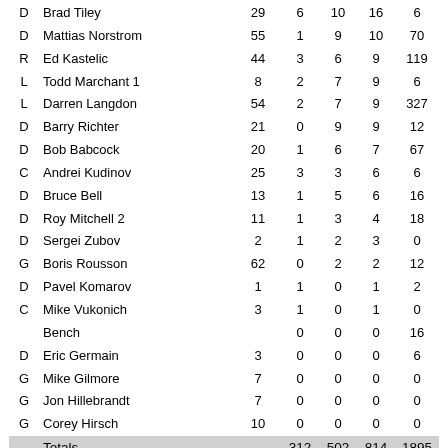| Pos | Player Name | GP | G | A | Pts | PIM |
| --- | --- | --- | --- | --- | --- | --- |
| D | Brad Tiley | 29 | 6 | 10 | 16 | 6 |
| D | Mattias Norstrom | 55 | 1 | 9 | 10 | 70 |
| R | Ed Kastelic | 44 | 3 | 6 | 9 | 119 |
| L | Todd Marchant 1 | 8 | 2 | 7 | 9 | 6 |
| L | Darren Langdon | 54 | 2 | 7 | 9 | 327 |
| D | Barry Richter | 21 | 0 | 9 | 9 | 12 |
| D | Bob Babcock | 20 | 1 | 6 | 7 | 67 |
| C | Andrei Kudinov | 25 | 3 | 3 | 6 | 6 |
| D | Bruce Bell | 13 | 1 | 5 | 6 | 16 |
| D | Roy Mitchell 2 | 11 | 1 | 3 | 4 | 18 |
| D | Sergei Zubov | 2 | 1 | 2 | 3 | 0 |
| G | Boris Rousson | 62 | 0 | 2 | 2 | 12 |
| D | Pavel Komarov | 1 | 1 | 0 | 1 | 2 |
| C | Mike Vukonich | 3 | 1 | 0 | 1 | 0 |
|  | Bench |  | 0 | 0 | 0 | 16 |
| D | Eric Germain | 3 | 0 | 0 | 0 | 6 |
| G | Mike Gilmore | 7 | 0 | 0 | 0 | 0 |
| G | Jon Hillebrandt | 7 | 0 | 0 | 0 | 0 |
| G | Corey Hirsch | 10 | 0 | 0 | 0 | 0 |
|  | Totals |  | 312 | 502 | 814 | 1895 |
Goalie Stats
| Player Name | GP | Min | GA | GAA | W | L | T | Pct |
| --- | --- | --- | --- | --- | --- | --- | --- | --- |